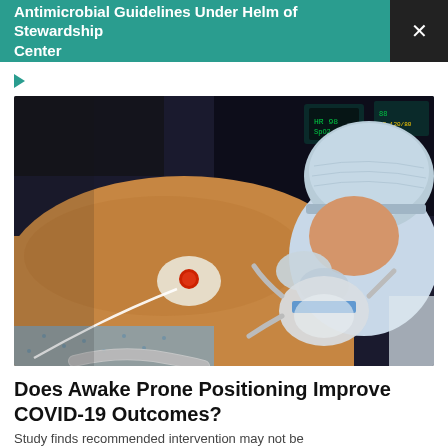Antimicrobial Guidelines Under Helm of Stewardship Center
[Figure (photo): A patient in prone position with an ECG electrode on their back and an oxygen mask on their face, attended by a healthcare worker wearing a surgical cap and gloves.]
Does Awake Prone Positioning Improve COVID-19 Outcomes?
Study finds recommended intervention may not be